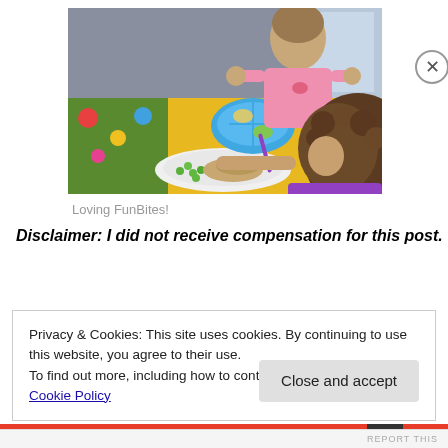[Figure (photo): Two young girls sitting at a yellow table. One girl in a pink shirt is standing/leaning over a blue sectioned plate with food. Another girl with curly hair in a purple outfit is eating from a white plate with green peas and other food. A purple fork is visible.]
Loving FunBites!
Disclaimer: I did not receive compensation for this post.  I
Privacy & Cookies: This site uses cookies. By continuing to use this website, you agree to their use.
To find out more, including how to control cookies, see here: Cookie Policy